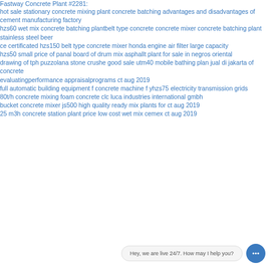Fastway Concrete Plant #2281:
hot sale stationary concrete mixing plant concrete batching advantages and disadvantages of cement manufacturing factory
hzs60 wet mix concrete batching plantbelt type concrete concrete mixer concrete batching plant stainless steel beer
ce certificated hzs150 belt type concrete mixer honda engine air filter large capacity
hzs50 small price of panal board of drum mix asphallt plant for sale in negros oriental
drawing of tph puzzolana stone crushe good sale utm40 mobile bathing plan jual di jakarta of concrete
evaluatingperformance appraisalprograms ct aug 2019
full automatic building equipment f concrete machine f yhzs75 electricity transmission grids
80t/h concrete mixing foam concrete clc luca industries international gmbh
bucket concrete mixer js500 high quality ready mix plants for ct aug 2019
25 m3h concrete station plant price low cost wet mix cemex ct aug 2019
Hey, we are live 24/7. How may I help you?